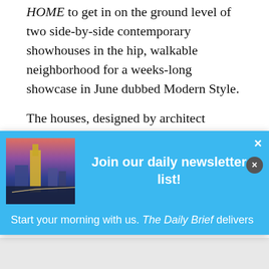HOME to get in on the ground level of two side-by-side contemporary showhouses in the hip, walkable neighborhood for a weeks-long showcase in June dubbed Modern Style.
The houses, designed by architect Jordache Avery of Xmetrical and constructed by Joseph Brown and
[Figure (screenshot): Newsletter signup popup with blue background, city skyline image on left, bold white text 'Join our daily newsletter list!', close button (x) top right, and text 'Start your morning with us. The Daily Brief delivers'. A circular dark close button appears at the bottom right of the popup.]